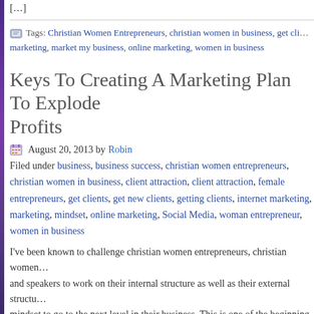[…]
Tags: Christian Women Entrepreneurs, christian women in business, get cli… marketing, market my business, online marketing, women in business
Keys To Creating A Marketing Plan To Explode… Profits
August 20, 2013 by Robin
Filed under business, business success, christian women entrepreneurs, christian women in business, client attraction, client attraction, female entrepreneurs, get clients, get new clients, getting clients, internet marketing, marketing, mindset, online marketing, Social Media, woman entrepreneur, women in business
I've been known to challenge christian women entrepreneurs, christian women… and speakers to work on their internal structure as well as their external structu… mindset to go to the next level in their business. This is one of the beginning st… […]
Tags: Christian Women Entrepreneurs, christian women in business, get pr… marketing your business